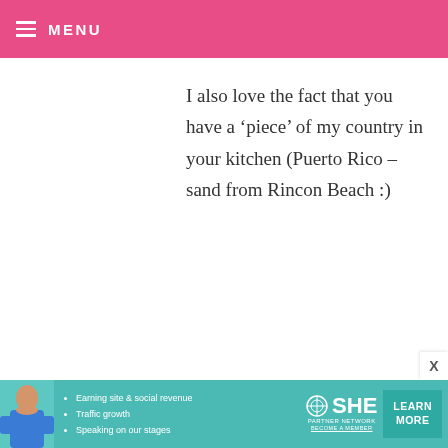MENU
I also love the fact that you have a 'piece' of my country in your kitchen (Puerto Rico – sand from Rincon Beach :)
LADYSTITCHPA — MAY 1, 2009 @ 5:42 PM
I think I've just gained 5 lbs. just looking at these yummy doughnuts. They are amazing and I'm off to my
[Figure (infographic): SHE Partner Network advertisement banner with photo of woman, bullet points about earning site & social revenue, traffic growth, speaking on stages, and a LEARN MORE button]